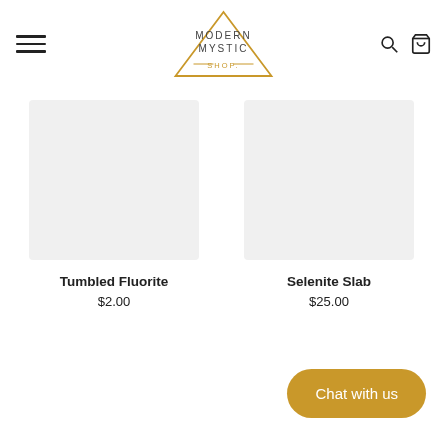[Figure (logo): Modern Mystic Shop logo — triangle outline with 'MODERN MYSTIC SHOP' text inside]
Tumbled Fluorite
$2.00
Selenite Slab
$25.00
Chat with us